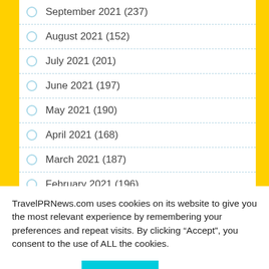September 2021 (237)
August 2021 (152)
July 2021 (201)
June 2021 (197)
May 2021 (190)
April 2021 (168)
March 2021 (187)
February 2021 (196)
January 2021 (141)
TravelPRNews.com uses cookies on its website to give you the most relevant experience by remembering your preferences and repeat visits. By clicking “Accept”, you consent to the use of ALL the cookies.
Cookie settings
ACCEPT